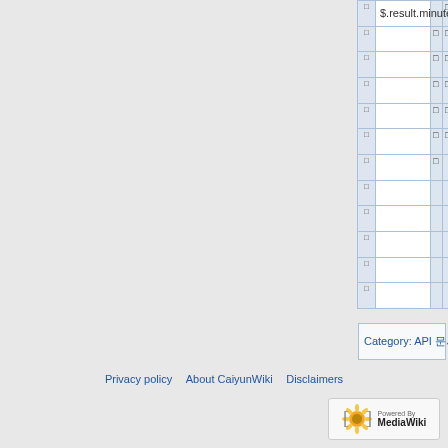|  | $.result.minutely.precipitation_2h |  |  |
| --- | --- | --- | --- |
| □ |  | □ |  |
| □ |  | □ | □ |
| □ |  | □ | □ |
| □ |  | □ | □ |
| □ |  | □ | □ |
| □ |  | □ | □ |
| □ |  | □ | □ |
| □ |  | □ | □ |
| □ |  | □ | □ |
| □ |  | □ | □ |
| □ |  | □ |  |
| □ |  |  |  |
Category:  API 문서
Privacy policy   About CaiyunWiki   Disclaimers